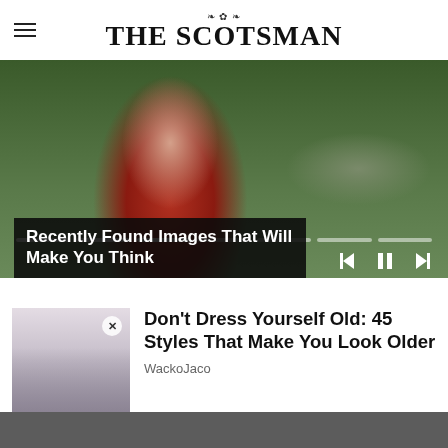THE SCOTSMAN
[Figure (photo): Woman wearing a red Star Trek-style shirt posing outdoors near plants and a tree]
Recently Found Images That Will Make You Think
[Figure (photo): Thumbnail image of a person in light-colored clothing]
Don't Dress Yourself Old: 45 Styles That Make You Look Older
WackoJaco